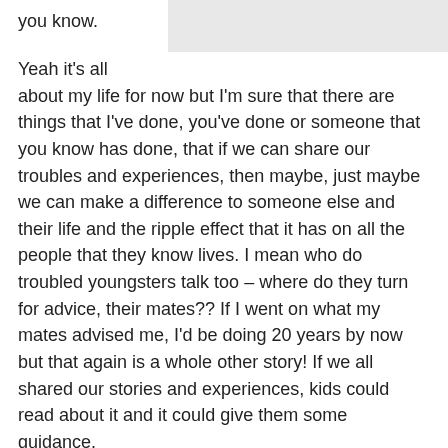you know.
Yeah it's all about my life for now but I'm sure that there are things that I've done, you've done or someone that you know has done, that if we can share our troubles and experiences, then maybe, just maybe we can make a difference to someone else and their life and the ripple effect that it has on all the people that they know lives. I mean who do troubled youngsters talk too – where do they turn for advice, their mates?? If I went on what my mates advised me, I'd be doing 20 years by now but that again is a whole other story! If we all shared our stories and experiences, kids could read about it and it could give them some guidance.
Surprise surprise, some weeks later I received a call from my solicitor telling me that all charges had been dropped against me as the Police didn't have enough evidence for a...